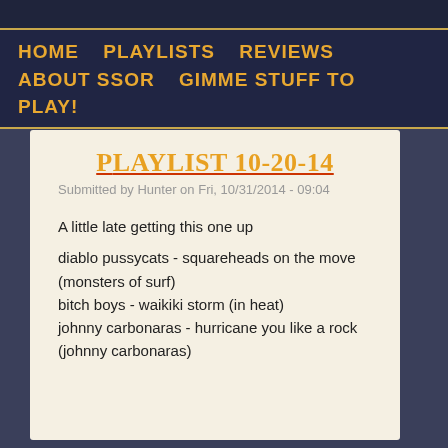HOME   PLAYLISTS   REVIEWS   ABOUT SSOR   GIMME STUFF TO PLAY!
Playlist 10-20-14
Submitted by Hunter on Fri, 10/31/2014 - 09:04
A little late getting this one up

diablo pussycats - squareheads on the move (monsters of surf)
bitch boys - waikiki storm (in heat)
johnny carbonaras - hurricane you like a rock (johnny carbonaras)